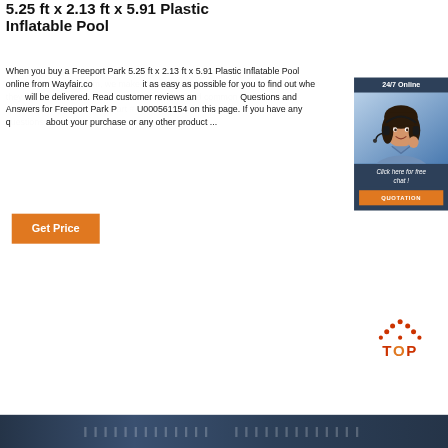5.25 ft x 2.13 ft x 5.91 Plastic Inflatable Pool
When you buy a Freeport Park 5.25 ft x 2.13 ft x 5.91 Plastic Inflatable Pool online from Wayfair.co... it as easy as possible for you to find out whe... will be delivered. Read customer reviews and... Questions and Answers for Freeport Park Pa... U000561154 on this page. If you have any q... about your purchase or any other product ...
[Figure (photo): Customer service representative woman with headset. Chat widget with '24/7 Online' header and 'Click here for free chat!' text with QUOTATION button.]
[Figure (other): TOP button with orange dots arranged in triangle above the letters TOP in orange/red on white background.]
[Figure (other): Dark blue/navy banner at bottom with faint repeating text pattern.]